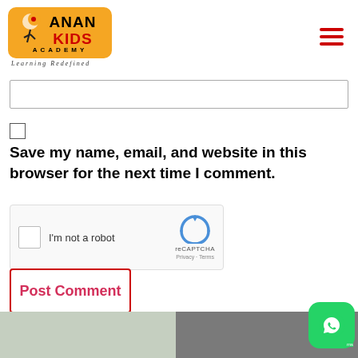[Figure (logo): Anan Kids Academy logo with orange background, crescent moon and figure, tagline 'Learning Redefined']
[Figure (screenshot): Text input field (empty)]
[Figure (screenshot): Checkbox (unchecked)]
Save my name, email, and website in this browser for the next time I comment.
[Figure (screenshot): reCAPTCHA widget with 'I'm not a robot' checkbox, reCAPTCHA logo, Privacy and Terms links]
[Figure (screenshot): Post Comment button with red border]
[Figure (screenshot): WhatsApp icon button bottom right]
[Figure (photo): Bottom strip showing partial images of children]